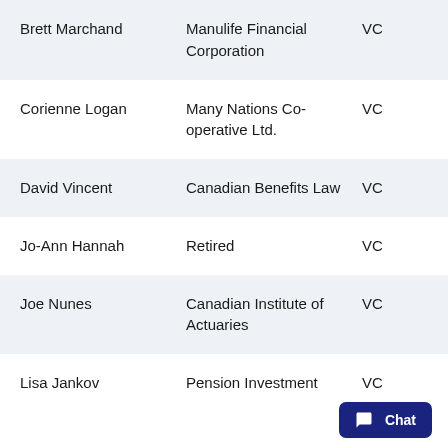| Brett Marchand | Manulife Financial Corporation | VC |
| Corienne Logan | Many Nations Co-operative Ltd. | VC |
| David Vincent | Canadian Benefits Law | VC |
| Jo-Ann Hannah | Retired | VC |
| Joe Nunes | Canadian Institute of Actuaries | VC |
| Lisa Jankov | Pension Investment | VC |